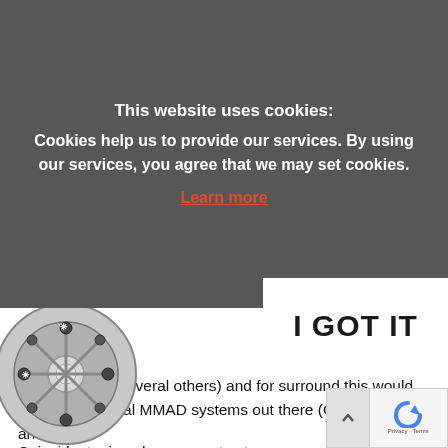This website uses cookies:
Cookies help us to provide our services. By using our services, you agree that we may set cookies.
Learn more
I GOT IT
spaced A/B (+ several others) and for surround this would be all the several MMAD systems out there (OCT-5/9, Omni arrays).
Coincident microphones create stereo or surround images through direction only; there is no time difference between the capsules (ideally). Spaced microphones (when only omni microphones are used which is not a must) create imagery through time difference. Our ears do both.
the pros and cons for both types of setups? This list obviously is not complete and also depends on what kind of
[Figure (photo): Circular microphone array or wheel-shaped device with multiple capsules arranged in a spoke pattern, shown partially at bottom-left]
[Figure (screenshot): reCAPTCHA badge and scroll-up button at bottom-right corner]